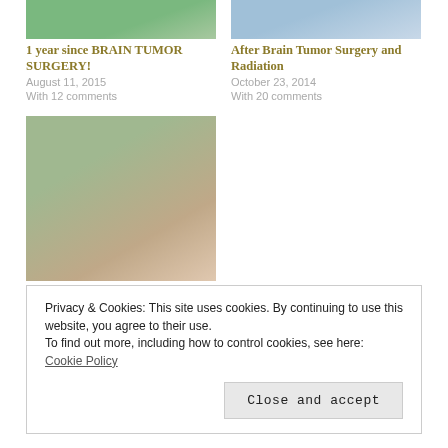[Figure (photo): Partial photo of person in teal/green top, cropped at top]
[Figure (photo): Partial photo of person with light background, cropped at top]
1 year since BRAIN TUMOR SURGERY!
August 11, 2015
With 12 comments
After Brain Tumor Surgery and Radiation
October 23, 2014
With 20 comments
[Figure (photo): A couple smiling outdoors with colorful wildflowers in background]
Let’s Get Real. I have a Brain Tumor.
May 2, 2014
With 34 comments
Privacy & Cookies: This site uses cookies. By continuing to use this website, you agree to their use.
To find out more, including how to control cookies, see here: Cookie Policy
Close and accept